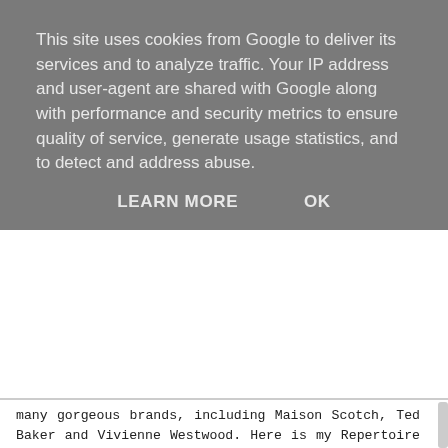This site uses cookies from Google to deliver its services and to analyze traffic. Your IP address and user-agent are shared with Google along with performance and security metrics to ensure quality of service, generate usage statistics, and to detect and address abuse.
LEARN MORE    OK
many gorgeous brands, including Maison Scotch, Ted Baker and Vivienne Westwood. Here is my Repertoire Fashion wish list:
[Figure (photo): Five fashion items: a pink Vivienne Westwood crossbody bag, a white printed t-shirt, a blue sweater/jumper, a black Vivienne Westwood handbag, and a striped long-sleeve top]
Have you bought anything from Repertoire Fashion? What do you think of the jumpers I chose?
Get 10% off using the code: BEAUTYANDNOTHING